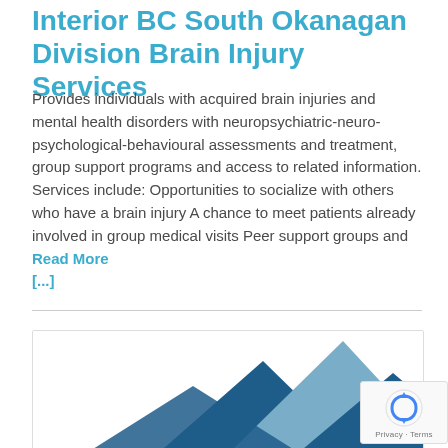Interior BC South Okanagan Division Brain Injury Services
Provides individuals with acquired brain injuries and mental health disorders with neuropsychiatric-neuro-psychological-behavioural assessments and treatment, group support programs and access to related information. Services include: Opportunities to socialize with others who have a brain injury A chance to meet patients already involved in group medical visits Peer support groups and   Read More [...]
[Figure (illustration): Mountain silhouette graphic with dark blue, medium blue, and light blue-grey overlapping mountain peaks, serving as a decorative card image.]